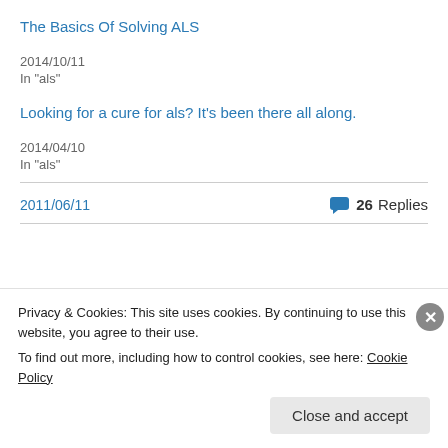The Basics Of Solving ALS
2014/10/11
In "als"
Looking for a cure for als? It's been there all along.
2014/04/10
In "als"
2011/06/11
26 Replies
« Previous
Next »
Privacy & Cookies: This site uses cookies. By continuing to use this website, you agree to their use.
To find out more, including how to control cookies, see here: Cookie Policy
Close and accept